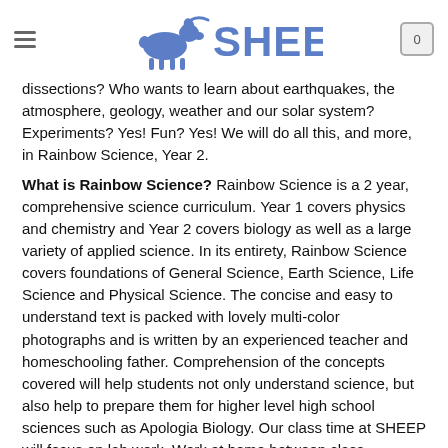SHEEP
dissections? Who wants to learn about earthquakes, the atmosphere, geology, weather and our solar system? Experiments? Yes! Fun? Yes! We will do all this, and more, in Rainbow Science, Year 2.
What is Rainbow Science? Rainbow Science is a 2 year, comprehensive science curriculum. Year 1 covers physics and chemistry and Year 2 covers biology as well as a large variety of applied science. In its entirety, Rainbow Science covers foundations of General Science, Earth Science, Life Science and Physical Science. The concise and easy to understand text is packed with lovely multi-color photographs and is written by an experienced teacher and homeschooling father. Comprehension of the concepts covered will help students not only understand science, but also help to prepare them for higher level high school sciences such as Apologia Biology. Our class time at SHEEP will focus on lab work. Work at home between class meetings will require students to do reading in